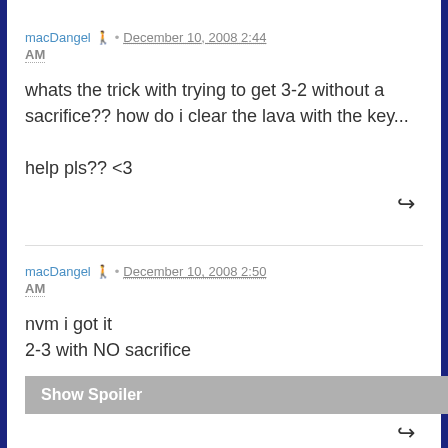macDangel · December 10, 2008 2:44 AM
whats the trick with trying to get 3-2 without a sacrifice?? how do i clear the lava with the key...

help pls?? <3
macDangel · December 10, 2008 2:50 AM
nvm i got it
2-3 with NO sacrifice
Show Spoiler